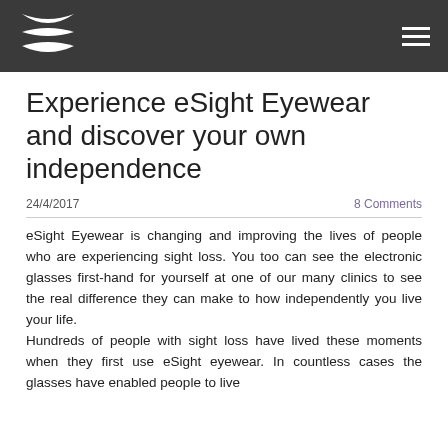eSight Eyewear logo and navigation
Experience eSight Eyewear and discover your own independence
24/4/2017  8 Comments
eSight Eyewear is changing and improving the lives of people who are experiencing sight loss. You too can see the electronic glasses first-hand for yourself at one of our many clinics to see the real difference they can make to how independently you live your life.
Hundreds of people with sight loss have lived these moments when they first use eSight eyewear. In countless cases the glasses have enabled people to live